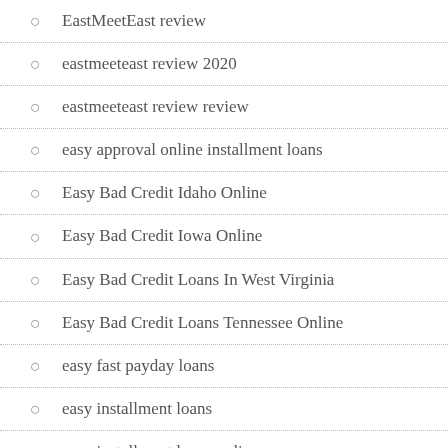EastMeetEast review
eastmeeteast review 2020
eastmeeteast review review
easy approval online installment loans
Easy Bad Credit Idaho Online
Easy Bad Credit Iowa Online
Easy Bad Credit Loans In West Virginia
Easy Bad Credit Loans Tennessee Online
easy fast payday loans
easy installment loans
easy installment loans online
easy money payday loan